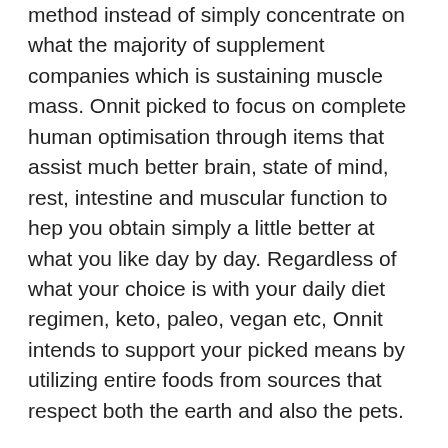method instead of simply concentrate on what the majority of supplement companies which is sustaining muscle mass. Onnit picked to focus on complete human optimisation through items that assist much better brain, state of mind, rest, intestine and muscular function to hep you obtain simply a little better at what you like day by day. Regardless of what your choice is with your daily diet regimen, keto, paleo, vegan etc, Onnit intends to support your picked means by utilizing entire foods from sources that respect both the earth and also the pets.
Aubrey Marcus suches as to say, “THO is a commitment to obtain strong in the areas where we are weak, become fantastic in places where we’re great, and also shine a light on the stuff we require to take a look at. Most importantly, THO is